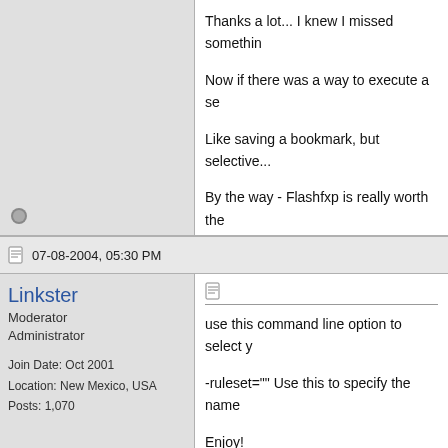Thanks a lot... I knew I missed somethin

Now if there was a way to execute a se

Like saving a bookmark, but selective...

By the way - Flashfxp is really worth the
07-08-2004, 05:30 PM
Linkster
Moderator
Administrator
Join Date: Oct 2001
Location: New Mexico, USA
Posts: 1,070
use this command line option to select y

-ruleset="" Use this to specify the name

Enjoy!

This only works on FlashFXP v3.0 RC4